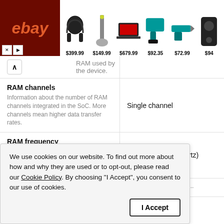[Figure (screenshot): eBay advertisement banner showing electronics products with prices: headphones ~$399.99, vacuum $149.99, laptop $679.99, power tools $92.35, tool $72.99, speaker $94]
RAM used by the device.
| Feature | Value |
| --- | --- |
| RAM channels
Information about the number of RAM channels integrated in the SoC. More channels mean higher data transfer rates. | Single channel |
| RAM frequency
RAM frequency relates directly to the rate of reading/writing from/in the RAM memory. | 1600 MHz (megahertz) |
We use cookies on our website. To find out more about how and why they are used or to opt-out, please read our Cookie Policy. By choosing "I Accept", you consent to our use of cookies.
hemory) with a fixed ca...